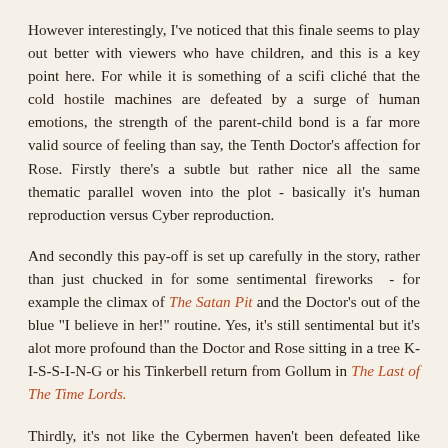However interestingly, I've noticed that this finale seems to play out better with viewers who have children, and this is a key point here. For while it is something of a scifi cliché that the cold hostile machines are defeated by a surge of human emotions, the strength of the parent-child bond is a far more valid source of feeling than say, the Tenth Doctor's affection for Rose. Firstly there's a subtle but rather nice all the same thematic parallel woven into the plot - basically it's human reproduction versus Cyber reproduction.
And secondly this pay-off is set up carefully in the story, rather than just chucked in for some sentimental fireworks - for example the climax of The Satan Pit and the Doctor's out of the blue "I believe in her!" routine. Yes, it's still sentimental but it's alot more profound than the Doctor and Rose sitting in a tree K-I-S-S-I-N-G or his Tinkerbell return from Gollum in The Last of The Time Lords.
Thirdly, it's not like the Cybermen haven't been defeated like this before.Essentially Craig overloading their emotional circuits is a callback to the old Cyber-classic The Invasion, where Tobias Vaughan's cerebratron mentor device does exactly the same thing. And certainly it's far better than the late period